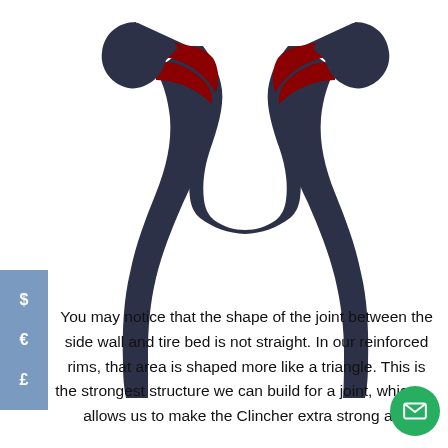[Figure (illustration): Cross-section illustration of a bicycle rim showing the shape of the joint between the side wall and tire bed. The rim structure is dark navy/charcoal with red reinforced triangular areas at the junctions of the side walls and tire bed. The shape appears like a wide U or handlebar, with the tire bed curving across the bottom and two side walls extending downward.]
You may notice that the shape of the joint between the side wall and tire bed is not straight. In our reinforced rims, that area is shaped more like a triangle. This is the strongest structure we can build for a joint, which allows us to make the Clincher extra strong and